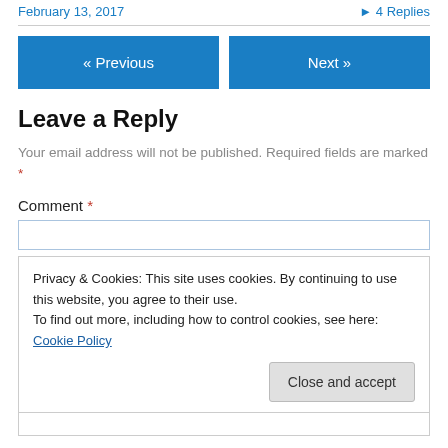February 13, 2017    ▸ 4 Replies
« Previous    Next »
Leave a Reply
Your email address will not be published. Required fields are marked *
Comment *
Privacy & Cookies: This site uses cookies. By continuing to use this website, you agree to their use. To find out more, including how to control cookies, see here: Cookie Policy   Close and accept